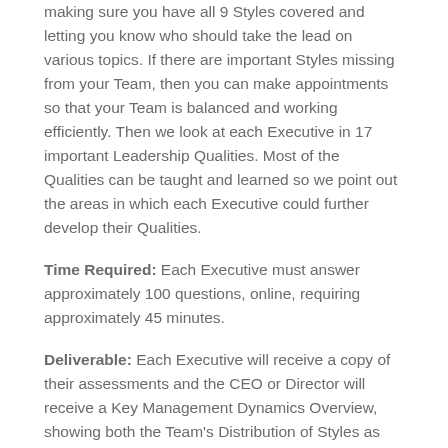making sure you have all 9 Styles covered and letting you know who should take the lead on various topics. If there are important Styles missing from your Team, then you can make appointments so that your Team is balanced and working efficiently. Then we look at each Executive in 17 important Leadership Qualities. Most of the Qualities can be taught and learned so we point out the areas in which each Executive could further develop their Qualities.
Time Required: Each Executive must answer approximately 100 questions, online, requiring approximately 45 minutes.
Deliverable: Each Executive will receive a copy of their assessments and the CEO or Director will receive a Key Management Dynamics Overview, showing both the Team's Distribution of Styles as well as each Executive's Qualities. In addition